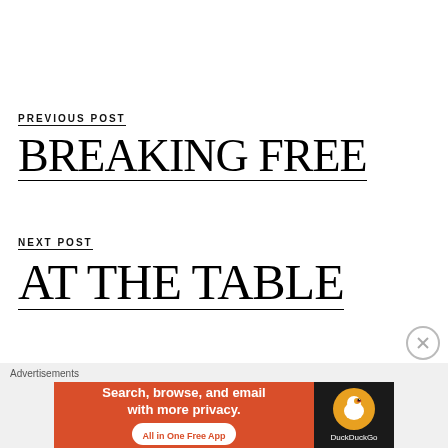PREVIOUS POST
BREAKING FREE
NEXT POST
AT THE TABLE
[Figure (screenshot): DuckDuckGo advertisement banner: orange left side reading 'Search, browse, and email with more privacy. All in One Free App' with a white pill button, and dark right side with DuckDuckGo logo and name.]